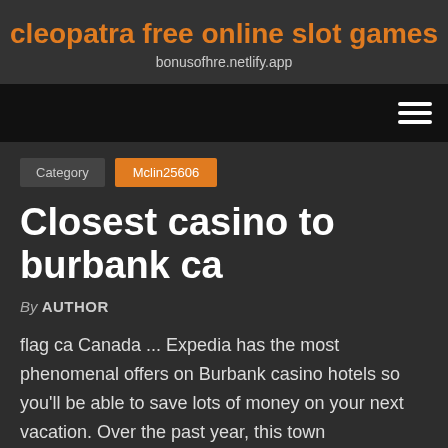cleopatra free online slot games
bonusofhre.netlify.app
Category  Mclin25606
Closest casino to burbank ca
By AUTHOR
flag ca Canada ... Expedia has the most phenomenal offers on Burbank casino hotels so you'll be able to save lots of money on your next vacation. Over the past year, this town